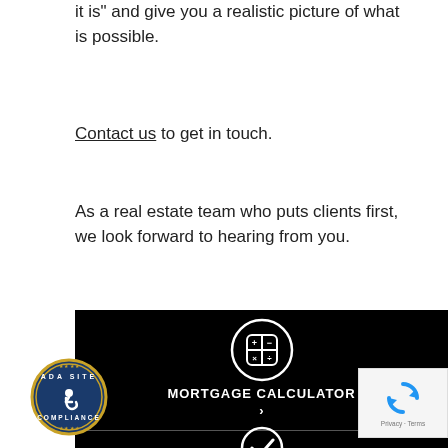it is" and give you a realistic picture of what is possible.
Contact us to get in touch.
As a real estate team who puts clients first, we look forward to hearing from you.
[Figure (screenshot): Black banner with a mortgage calculator icon (circle with +, -, x, ÷ symbols) and text 'MORTGAGE CALCULATOR' with a right arrow chevron, a horizontal divider line, and a white checkmark circle icon at the bottom. ADA Site Compliance badge and reCAPTCHA widget visible.]